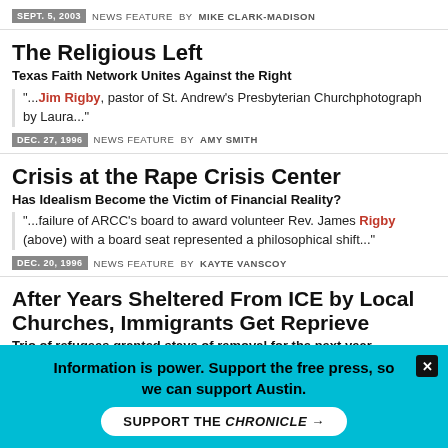SEPT. 5, 2003 NEWS FEATURE BY MIKE CLARK-MADISON
The Religious Left
Texas Faith Network Unites Against the Right
"...Jim Rigby, pastor of St. Andrew's Presbyterian Churchphotograph by Laura..."
DEC. 27, 1996 NEWS FEATURE BY AMY SMITH
Crisis at the Rape Crisis Center
Has Idealism Become the Victim of Financial Reality?
"...failure of ARCC's board to award volunteer Rev. James Rigby (above) with a board seat represented a philosophical shift..."
DEC. 20, 1996 NEWS FEATURE BY KAYTE VANSCOY
After Years Sheltered From ICE by Local Churches, Immigrants Get Reprieve
Trio of refugees granted stays of removal for the next year
"...hope" for Ramirez and her son, said the Rev. Jim Rigby of St.
Information is power. Support the free press, so we can support Austin.
SUPPORT THE CHRONICLE →